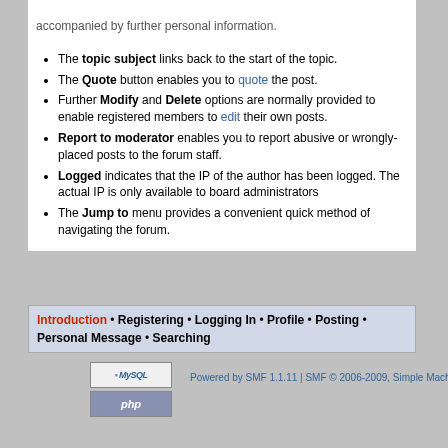The topic subject links back to the start of the topic.
The Quote button enables you to quote the post.
Further Modify and Delete options are normally provided to enable registered members to edit their own posts.
Report to moderator enables you to report abusive or wrongly-placed posts to the forum staff.
Logged indicates that the IP of the author has been logged. The actual IP is only available to board administrators
The Jump to menu provides a convenient quick method of navigating the forum.
Introduction • Registering • Logging In • Profile • Posting • Personal Message • Searching
Powered by SMF 1.1.11 | SMF © 2006-2009, Simple Machines LLC